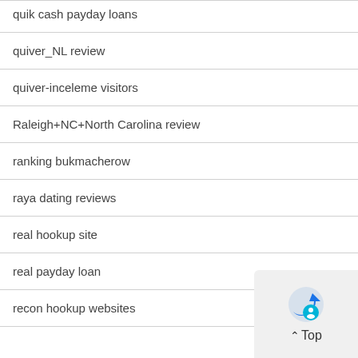quik cash payday loans
quiver_NL review
quiver-inceleme visitors
Raleigh+NC+North Carolina review
ranking bukmacherow
raya dating reviews
real hookup site
real payday loan
recon hookup websites